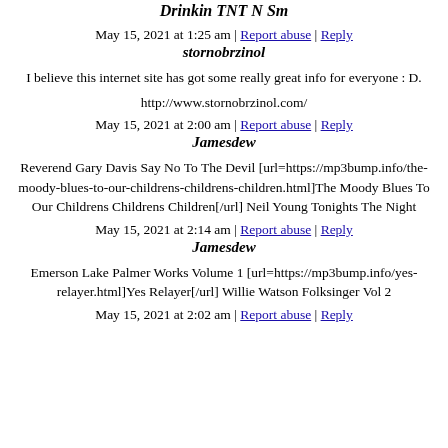Drinkin TNT N Sm
May 15, 2021 at 1:25 am | Report abuse | Reply
384. stornobrzinol
I believe this internet site has got some really great info for everyone : D.
http://www.stornobrzinol.com/
May 15, 2021 at 2:00 am | Report abuse | Reply
385. Jamesdew
Reverend Gary Davis Say No To The Devil [url=https://mp3bump.info/the-moody-blues-to-our-childrens-childrens-children.html]The Moody Blues To Our Childrens Childrens Children[/url] Neil Young Tonights The Night
May 15, 2021 at 2:14 am | Report abuse | Reply
386. Jamesdew
Emerson Lake Palmer Works Volume 1 [url=https://mp3bump.info/yes-relayer.html]Yes Relayer[/url] Willie Watson Folksinger Vol 2
May 15, 2021 at 2:02 am | Report abuse | Reply